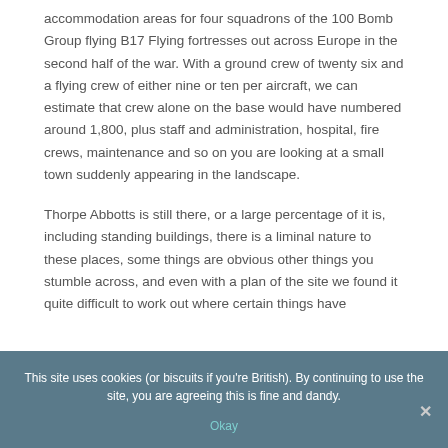accommodation areas for four squadrons of the 100 Bomb Group flying B17 Flying fortresses out across Europe in the second half of the war. With a ground crew of twenty six and a flying crew of either nine or ten per aircraft, we can estimate that crew alone on the base would have numbered around 1,800, plus staff and administration, hospital, fire crews, maintenance and so on you are looking at a small town suddenly appearing in the landscape.
Thorpe Abbotts is still there, or a large percentage of it is, including standing buildings, there is a liminal nature to these places, some things are obvious other things you stumble across, and even with a plan of the site we found it quite difficult to work out where certain things have
This site uses cookies (or biscuits if you're British). By continuing to use the site, you are agreeing this is fine and dandy.
Okay